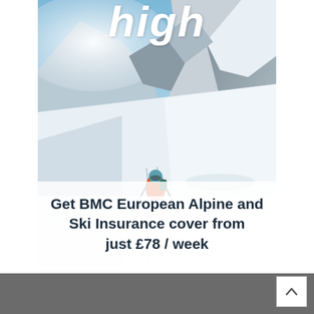[Figure (photo): Advertisement image showing a skier with backpack and ski poles climbing a steep snow-covered alpine mountain slope with dramatic snowy peaks in the background. Large white italic bold text 'high' appears at the top.]
Get BMC European Alpine and Ski Insurance cover from just £78 / week